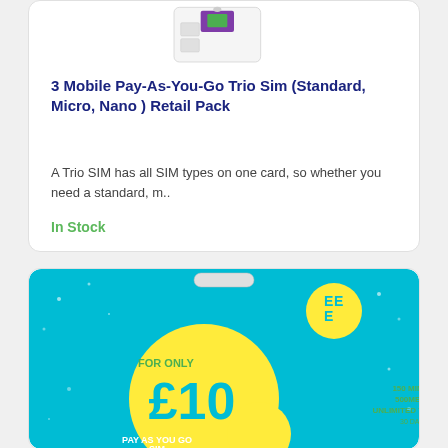[Figure (photo): 3 Mobile Pay-As-You-Go Trio SIM card image showing the card packaging]
3 Mobile Pay-As-You-Go Trio Sim (Standard, Micro, Nano ) Retail Pack
A Trio SIM has all SIM types on one card, so whether you need a standard, m..
In Stock
[Figure (photo): EE Pay As You Go SIM card retail pack showing £10 for 150 minutes, 500MB data, unlimited texts, 30 day pack]